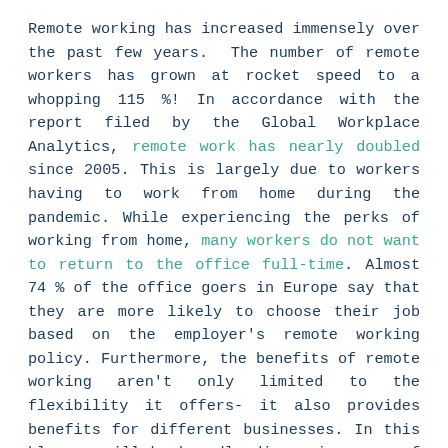Remote working has increased immensely over the past few years.  The number of remote workers has grown at rocket speed to a whopping 115 %! In accordance with the report filed by the Global Workplace Analytics, remote work has nearly doubled since 2005. This is largely due to workers having to work from home during the pandemic. While experiencing the perks of working from home, many workers do not want to return to the office full-time. Almost 74 % of the office goers in Europe say that they are more likely to choose their job based on the employer's remote working policy. Furthermore, the benefits of remote working aren't only limited to the flexibility it offers- it also provides benefits for different businesses. In this blog we will be broadly discussing some of the benefits as well as the challenges faced by remote working.